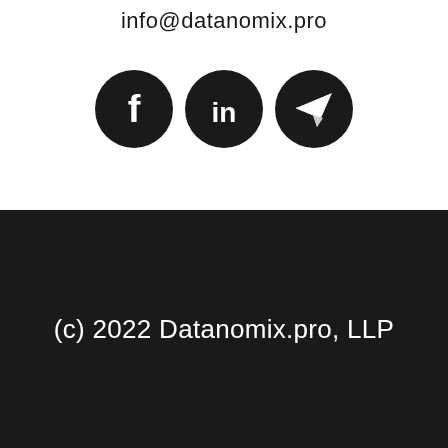info@datanomix.pro
[Figure (illustration): Three black circular social media icons: Facebook (F), LinkedIn (in), and Telegram (paper plane arrow)]
(c) 2022 Datanomix.pro, LLP